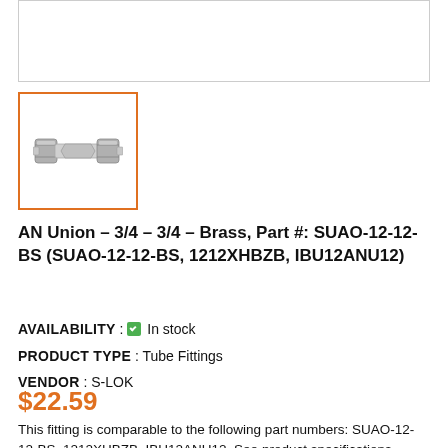[Figure (photo): Top area image box (empty/white product image placeholder)]
[Figure (photo): Thumbnail of AN Union brass tube fitting, metallic silver double-ferrule compression fitting, shown with orange border indicating selected state]
AN Union - 3/4 - 3/4 - Brass, Part #: SUAO-12-12-BS (SUAO-12-12-BS, 1212XHBZB, IBU12ANU12)
AVAILABILITY : ✔ In stock
PRODUCT TYPE : Tube Fittings
VENDOR : S-LOK
$22.59
This fitting is comparable to the following part numbers: SUAO-12-12-BS, 1212XHBZB, IBU12ANU12. See product specifications below. Leave us a message or give...